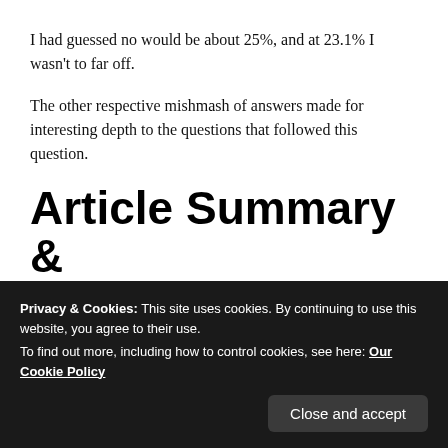I had guessed no would be about 25%, and at 23.1% I wasn't to far off.
The other respective mishmash of answers made for interesting depth to the questions that followed this question.
Article Summary & TLDR
Privacy & Cookies: This site uses cookies. By continuing to use this website, you agree to their use.
To find out more, including how to control cookies, see here: Our Cookie Policy
Close and accept